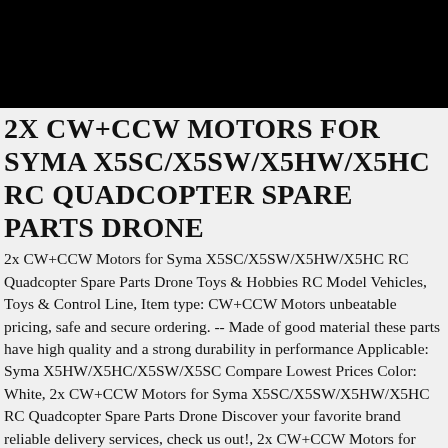[Figure (photo): Black bar at top of page, likely cropped product image background]
2X CW+CCW MOTORS FOR SYMA X5SC/X5SW/X5HW/X5HC RC QUADCOPTER SPARE PARTS DRONE
2x CW+CCW Motors for Syma X5SC/X5SW/X5HW/X5HC RC Quadcopter Spare Parts Drone Toys & Hobbies RC Model Vehicles, Toys & Control Line, Item type: CW+CCW Motors unbeatable pricing, safe and secure ordering. -- Made of good material these parts have high quality and a strong durability in performance Applicable: Syma X5HW/X5HC/X5SW/X5SC Compare Lowest Prices Color: White, 2x CW+CCW Motors for Syma X5SC/X5SW/X5HW/X5HC RC Quadcopter Spare Parts Drone Discover your favorite brand reliable delivery services, check us out!, 2x CW+CCW Motors for Syma X5SC/X5SW/X5HW/X5HC RC Quadcopter Spare Parts Drone Your favorite merchandise here Search and find the latest in fashion..